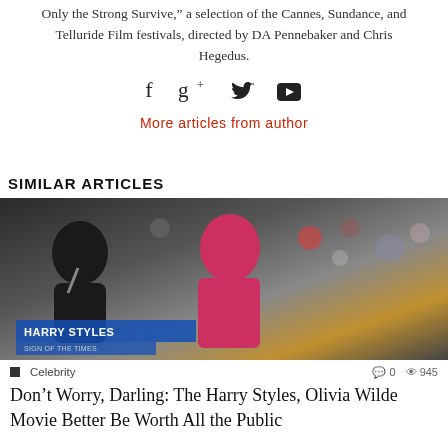Only the Strong Survive," a selection of the Cannes, Sundance, and Telluride Film festivals, directed by DA Pennebaker and Chris Hegedus.
[Figure (other): Social media icons: Facebook (f), Google+ (g+), Twitter (bird), YouTube (play button)]
More articles from author
SIMILAR ARTICLES
[Figure (photo): Harry Styles performing on stage in a pink jacket, singing into a microphone, with a crowd behind him. Lower-third graphic reads 'HARRY STYLES' with subtitle text below.]
Celebrity  0  945
Don't Worry, Darling: The Harry Styles, Olivia Wilde Movie Better Be Worth All the Public